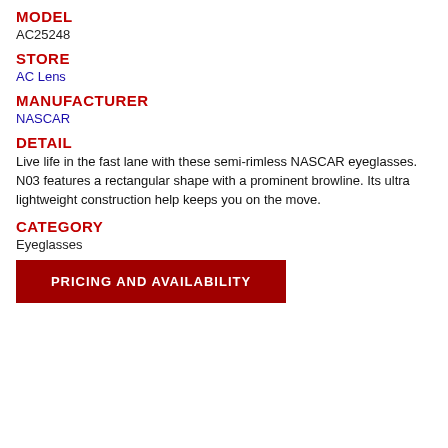MODEL
AC25248
STORE
AC Lens
MANUFACTURER
NASCAR
DETAIL
Live life in the fast lane with these semi-rimless NASCAR eyeglasses. N03 features a rectangular shape with a prominent browline. Its ultra lightweight construction help keeps you on the move.
CATEGORY
Eyeglasses
PRICING AND AVAILABILITY